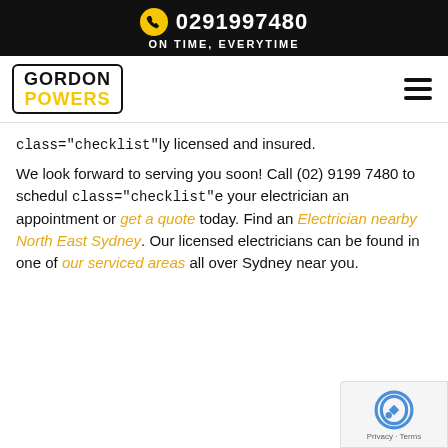0291997480 ON TIME, EVERYTIME
[Figure (logo): Gordon Powers logo with black border, GORDON in black and POWERS in yellow, plus hamburger menu icon]
class="checklist"ly licensed and insured.
We look forward to serving you soon! Call (02) 9199 7480 to schedul class="checklist"e your electrician an appointment or get a quote today. Find an Electrician nearby North East Sydney. Our licensed electricians can be found in one of our serviced areas all over Sydney near you.
[Figure (logo): Google reCAPTCHA badge with Privacy and Terms links]